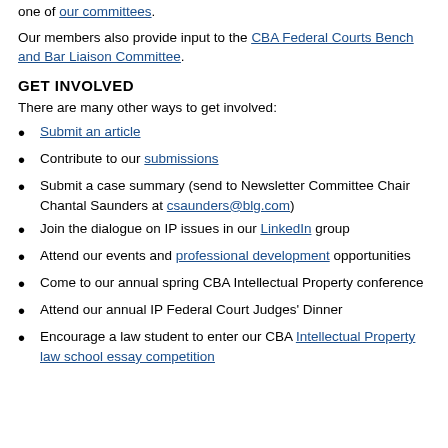one of our committees.
Our members also provide input to the CBA Federal Courts Bench and Bar Liaison Committee.
GET INVOLVED
There are many other ways to get involved:
Submit an article
Contribute to our submissions
Submit a case summary (send to Newsletter Committee Chair Chantal Saunders at csaunders@blg.com)
Join the dialogue on IP issues in our LinkedIn group
Attend our events and professional development opportunities
Come to our annual spring CBA Intellectual Property conference
Attend our annual IP Federal Court Judges' Dinner
Encourage a law student to enter our CBA Intellectual Property law school essay competition